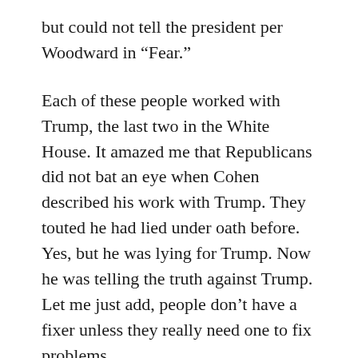but could not tell the president per Woodward in “Fear.”
Each of these people worked with Trump, the last two in the White House. It amazed me that Republicans did not bat an eye when Cohen described his work with Trump. They touted he had lied under oath before. Yes, but he was lying for Trump. Now he was telling the truth against Trump. Let me just add, people don’t have a fixer unless they really need one to fix problems.
Keith